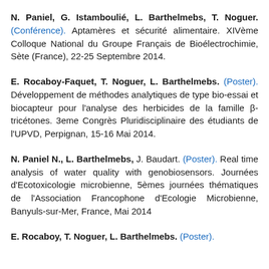N. Paniel, G. Istamboulié, L. Barthelmebs, T. Noguer. (Conférence). Aptamères et sécurité alimentaire. XIVème Colloque National du Groupe Français de Bioélectrochimie, Sète (France), 22-25 Septembre 2014.
E. Rocaboy-Faquet, T. Noguer, L. Barthelmebs. (Poster). Développement de méthodes analytiques de type bio-essai et biocapteur pour l'analyse des herbicides de la famille β-tricétones. 3eme Congrès Pluridisciplinaire des étudiants de l'UPVD, Perpignan, 15-16 Mai 2014.
N. Paniel N., L. Barthelmebs, J. Baudart. (Poster). Real time analysis of water quality with genobiosensors. Journées d'Ecotoxicologie microbienne, 5èmes journées thématiques de l'Association Francophone d'Ecologie Microbienne, Banyuls-sur-Mer, France, Mai 2014
E. Rocaboy, T. Noguer, L. Barthelmebs. (Poster).